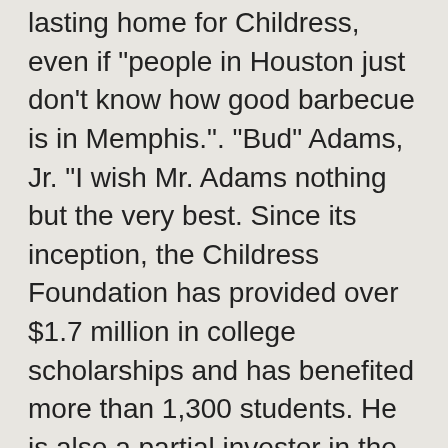lasting home for Childress, even if "people in Houston just don't know how good barbecue is in Memphis.". "Bud" Adams, Jr. "I wish Mr. Adams nothing but the very best. Since its inception, the Childress Foundation has provided over $1.7 million in college scholarships and has benefited more than 1,300 students. He is also a partial investor in the Houston Texans. This account has reached the download cap, additional downloads subject to agreement overage terms. The couple have a daughter, Sloan, 9, and three sons: Wells, 11; Ford, 8; and Knox, 6. Select this result to view Ray Louis Childress Jr.'s phone number, address, and more. Raymond Clay Childress, Jr. (born October 20, 1962) is a former American football defensive tackle in the NFL for the Houston Oilers and Dallas Cowboys. He also founded the Childress Directional Drilling, LLC. Please carefully review any restrictions accompanying the Licensed Material on the Getty Images website, and contact your Getty Images